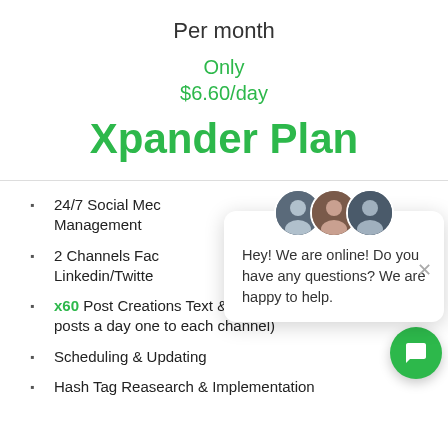Per month
Only
$6.60/day
Xpander Plan
24/7 Social Media Management
2 Channels Facebook/Instagram/Linkedin/Twitter
x60 Post Creations Text & Graphic (2 posts a day one to each channel)
Scheduling & Updating
Hash Tag Reasearch & Implementation
Hey! We are online! Do you have any questions? We are happy to help.